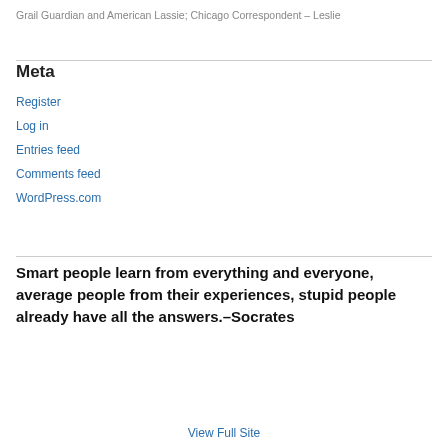Grail Guardian and American Lassie; Chicago Correspondent – Leslie
Meta
Register
Log in
Entries feed
Comments feed
WordPress.com
Smart people learn from everything and everyone, average people from their experiences, stupid people already have all the answers.–Socrates
View Full Site